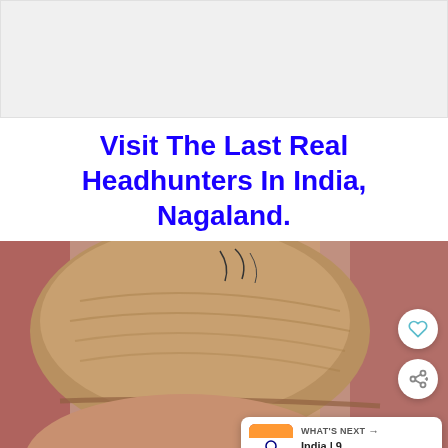[Figure (other): Advertisement banner placeholder (gray background)]
Visit The Last Real Headhunters In India, Nagaland.
[Figure (photo): Close-up photograph of an elderly person's face and head wearing a woven/knitted cap, with a brick wall background. UI overlays include a heart (like) button, a share button, and a 'What's Next' card showing 'India | 9 Things You...']